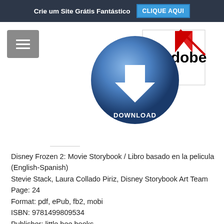Crie um Site Grátis Fantástico   CLIQUE AQUI
[Figure (illustration): Download button graphic with blue sphere and white arrow, overlaid with Adobe PDF logo icon]
Disney Frozen 2: Movie Storybook / Libro basado en la pelicula (English-Spanish)
Stevie Stack, Laura Collado Piriz, Disney Storybook Art Team
Page: 24
Format: pdf, ePub, fb2, mobi
ISBN: 9781499809534
Publisher: little bee books